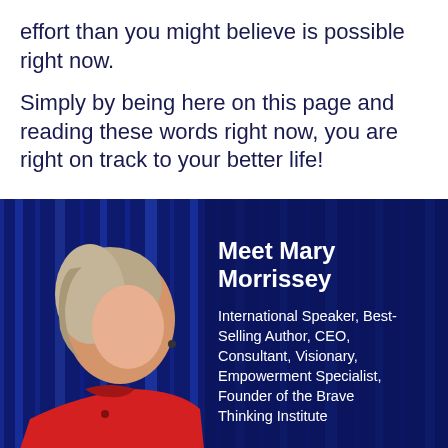effort than you might believe is possible right now.
Simply by being here on this page and reading these words right now, you are right on track to your better life!
[Figure (photo): Woman in red jacket speaking on stage with blue curtain background, overlaid with text 'Meet Mary Morrissey - International Speaker, Best-Selling Author, CEO, Consultant, Visionary, Empowerment Specialist, Founder of the Brave Thinking Institute']